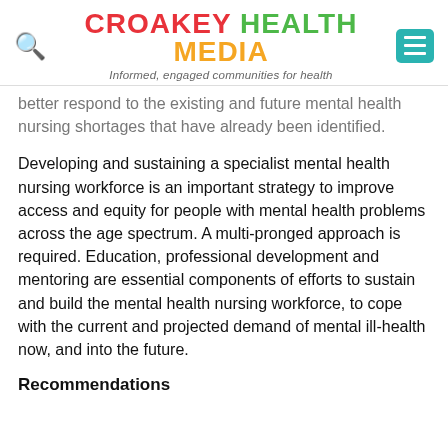CROAKEY HEALTH MEDIA — Informed, engaged communities for health
…better respond to the existing and future mental health nursing shortages that have already been identified.
Developing and sustaining a specialist mental health nursing workforce is an important strategy to improve access and equity for people with mental health problems across the age spectrum. A multi-pronged approach is required. Education, professional development and mentoring are essential components of efforts to sustain and build the mental health nursing workforce, to cope with the current and projected demand of mental ill-health now, and into the future.
Recommendations